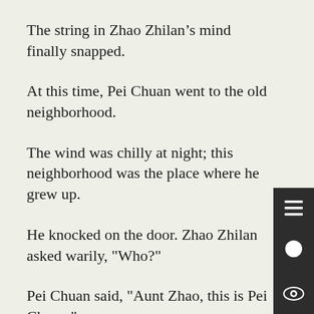The string in Zhao Zhilan’s mind finally snapped.
At this time, Pei Chuan went to the old neighborhood.
The wind was chilly at night; this neighborhood was the place where he grew up.
He knocked on the door. Zhao Zhilan asked warily, "Who?"
Pei Chuan said, "Aunt Zhao, this is Pei Chuan."
Zhao Zhilan opened the door for him, but her face didn’t look good.
Pei Chuan was silent, he directly showed the information he ha for Zhao Zhilan.